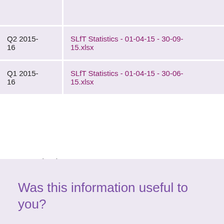| Quarter | File |
| --- | --- |
| Q2 2015-16 | SLfT Statistics - 01-04-15 - 30-09-15.xlsx |
| Q1 2015-16 | SLfT Statistics - 01-04-15 - 30-06-15.xlsx |
Last updated 3 June 2020
Was this information useful to you?